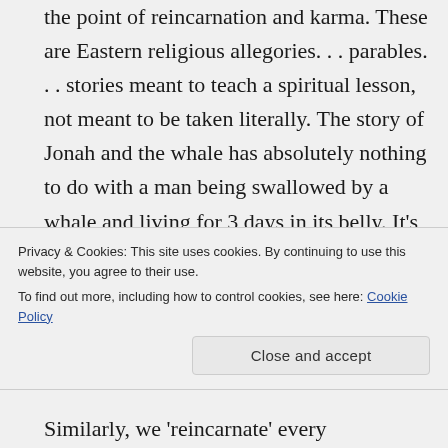the point of reincarnation and karma. These are Eastern religious allegories. . . parables. . . stories meant to teach a spiritual lesson, not meant to be taken literally. The story of Jonah and the whale has absolutely nothing to do with a man being swallowed by a whale and living for 3 days in its belly. It's meant to teach the listener that there's no escaping God's will for
Privacy & Cookies: This site uses cookies. By continuing to use this website, you agree to their use.
To find out more, including how to control cookies, see here: Cookie Policy
Similarly, we 'reincarnate' every